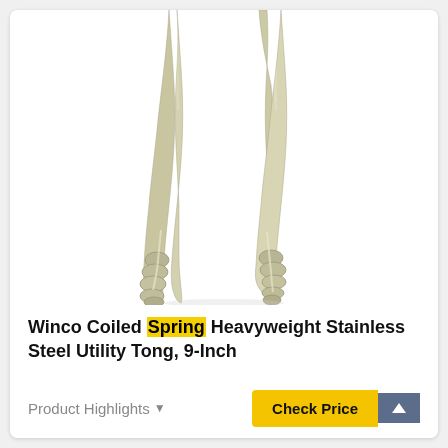[Figure (photo): Close-up photo of stainless steel kitchen tongs with scalloped gripping ends, open and facing up, showing two arms of a spring-loaded utility tong on a white background.]
Winco Coiled Spring Heavyweight Stainless Steel Utility Tong, 9-Inch
Product Highlights
Check Price